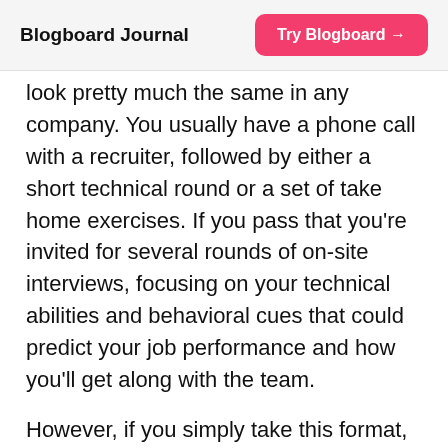Blogboard Journal   Try Blogboard →
look pretty much the same in any company. You usually have a phone call with a recruiter, followed by either a short technical round or a set of take home exercises. If you pass that you're invited for several rounds of on-site interviews, focusing on your technical abilities and behavioral cues that could predict your job performance and how you'll get along with the team.
However, if you simply take this format, pick a set of technical questions for the specific role and go with it, you could soon find yourself thinking about how to improve the process. You might find it slow and tedious for the interviewer, you could bet t